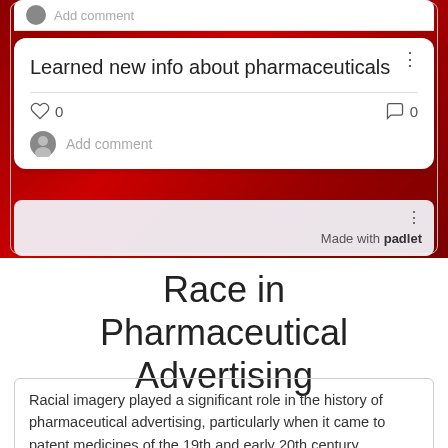[Figure (screenshot): Screenshot of a Padlet-style social media card on a red background. Card shows title 'Learned new info about pharmaceuticals' with like (0) and comment (0) icons, an 'Add comment' field with user avatar, and a 'Made with padlet' badge at the bottom.]
Race in Pharmaceutical Advertising
Racial imagery played a significant role in the history of pharmaceutical advertising, particularly when it came to patent medicines of the 19th and early 20th century.